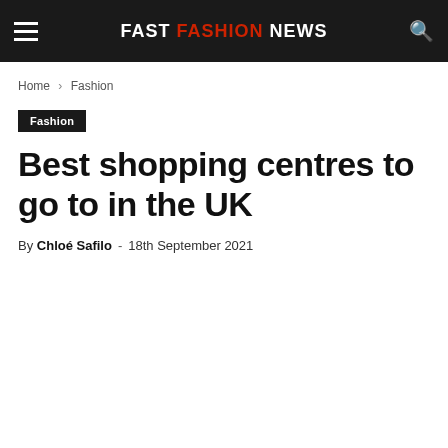FAST FASHION NEWS
Home › Fashion
Fashion
Best shopping centres to go to in the UK
By Chloé Safilo - 18th September 2021